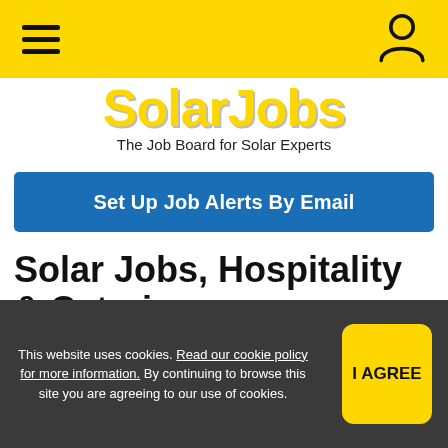SolarJobs — The Job Board for Solar Experts
Set Up Job Alerts By Email
Solar Jobs, Hospitality & Catering
No jobs found, please try amending your criteria.
This website uses cookies. Read our cookie policy for more information. By continuing to browse this site you are agreeing to our use of cookies. I AGREE